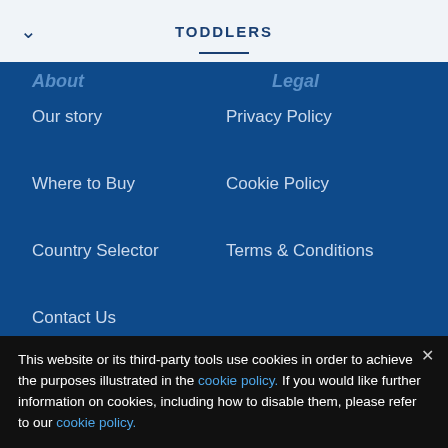TODDLERS
About / Legal (partial header)
Our story
Privacy Policy
Where to Buy
Cookie Policy
Country Selector
Terms & Conditions
Contact Us
[Figure (illustration): Social media icons: Facebook, Instagram, YouTube, AR]
This website or its third-party tools use cookies in order to achieve the purposes illustrated in the cookie policy. If you would like further information on cookies, including how to disable them, please refer to our cookie policy.